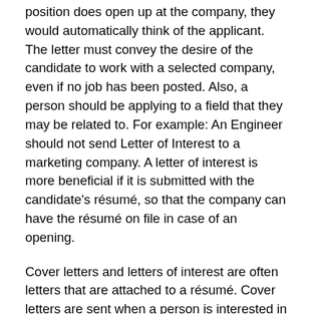position does open up at the company, they would automatically think of the applicant. The letter must convey the desire of the candidate to work with a selected company, even if no job has been posted. Also, a person should be applying to a field that they may be related to. For example: An Engineer should not send Letter of Interest to a marketing company. A letter of interest is more beneficial if it is submitted with the candidate's résumé, so that the company can have the résumé on file in case of an opening.
Cover letters and letters of interest are often letters that are attached to a résumé. Cover letters are sent when a person is interested in a position that has been posted by a company. It tells of the skills and experience that the applicant has in relation with the position. A letter of interest inquires if they are any openings at the company. It gives the overall skills of the applicant in relation with